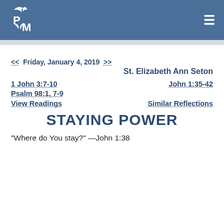PM logo | navigation menu
<< Friday, January 4, 2019 >>
St. Elizabeth Ann Seton
1 John 3:7-10
John 1:35-42
Psalm 98:1, 7-9
View Readings
Similar Reflections
STAYING POWER
"Where do You stay?" —John 1:38